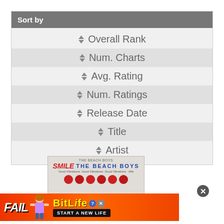Sort by
Overall Rank
Num. Charts
Avg. Rating
Num. Ratings
Release Date
Title
Artist
[Figure (illustration): Smile - The Beach Boys advertisement banner]
[Figure (illustration): BitLife - Start A New Life advertisement banner with FAIL text and animated figure]